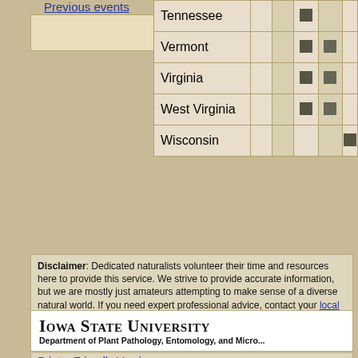Previous events
| State |  |  |  |  |  |
| --- | --- | --- | --- | --- | --- |
| Tennessee |  |  | ■ |  |  |
| Vermont |  |  | ■ | ■ |  |
| Virginia |  |  | ■ | ■ |  |
| West Virginia |  |  | ■ | ■ |  |
| Wisconsin |  |  |  |  | ■ |
Disclaimer: Dedicated naturalists volunteer their time and resources here to provide this service. We strive to provide accurate information, but we are mostly just amateurs attempting to make sense of a diverse natural world. If you need expert professional advice, contact your local extension office.

Contributors own the copyright to and are solely responsible for contributed content. Click the contributor's name for licensing and usage information. Everything else copyright © 2003-2022 Iowa State University, unless otherwise noted.

Bugguide is hosted by:
[Figure (logo): Iowa State University Department of Plant Pathology, Entomology, and Microbiology logo]
Printer Friendly Version